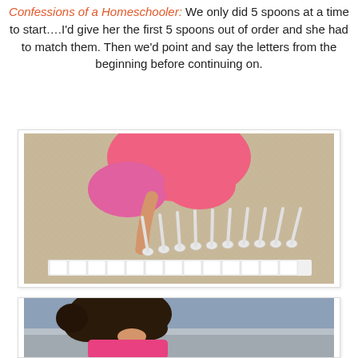Confessions of a Homeschooler: We only did 5 spoons at a time to start….I'd give her the first 5 spoons out of order and she had to match them. Then we'd point and say the letters from the beginning before continuing on.
[Figure (photo): A child in pink clothing playing with white spoons lined up next to a row of illustrated letter/number cards on a carpet floor, viewed from above.]
[Figure (photo): A young girl with dark curly hair wearing a pink shirt, leaning over what appears to be a flat surface or step, viewed from behind/side.]